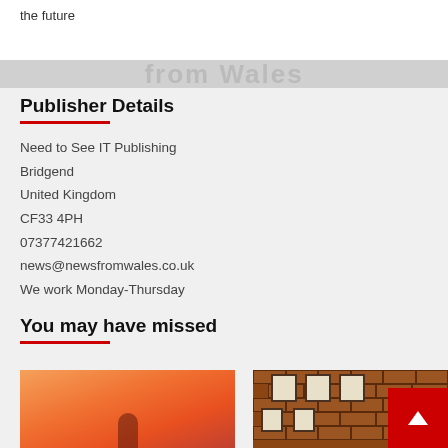the future
Publisher Details
Need to See IT Publishing
Bridgend
United Kingdom
CF33 4PH
07377421662
news@newsfromwales.co.uk
We work Monday-Thursday
You may have missed
[Figure (photo): Sunset/warm sky background with a silhouette of a person]
[Figure (photo): Brick building with windows and a red back-to-top button overlay]